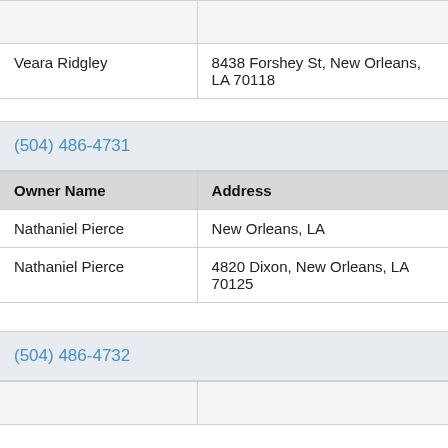| Owner Name | Address |
| --- | --- |
|  |  |
| Veara Ridgley | 8438 Forshey St, New Orleans, LA 70118 |
(504) 486-4731
| Owner Name | Address |
| --- | --- |
| Nathaniel Pierce | New Orleans, LA |
| Nathaniel Pierce | 4820 Dixon, New Orleans, LA 70125 |
(504) 486-4732